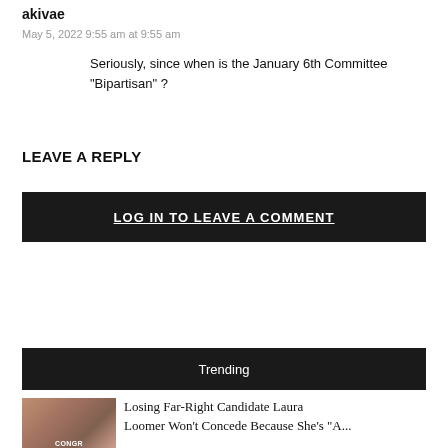akivae
May 5, 2022 9:55 am at 9:55 am
Seriously, since when is the January 6th Committee “Bipartisan” ?
LEAVE A REPLY
LOG IN TO LEAVE A COMMENT
Trending
[Figure (photo): Partial photo of a person near a congress campaign sign]
Losing Far-Right Candidate Laura Loomer Won’t Concede Because She’s “A...